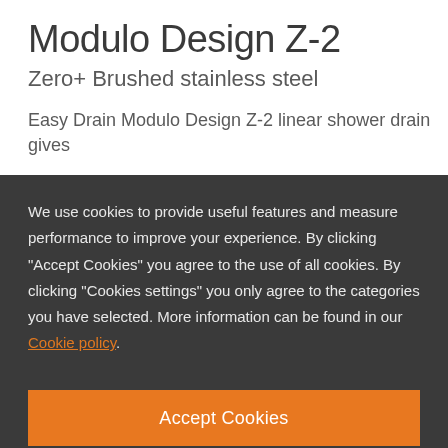Modulo Design Z-2
Zero+ Brushed stainless steel
Easy Drain Modulo Design Z-2 linear shower drain gives
We use cookies to provide useful features and measure performance to improve your experience. By clicking "Accept Cookies" you agree to the use of all cookies. By clicking "Cookies settings" you only agree to the categories you have selected. More information can be found in our Cookie policy.
Accept Cookies
Cookie Settings